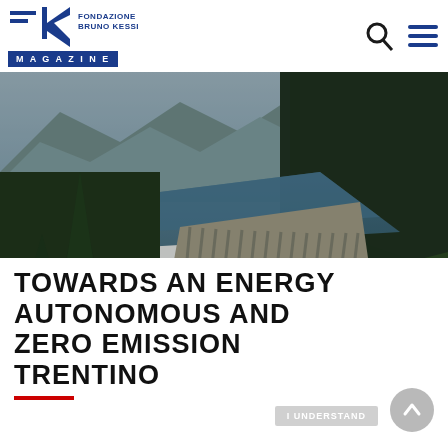FBK - Fondazione Bruno Kessler MAGAZINE
[Figure (photo): Aerial view of a large dam and reservoir surrounded by mountains and evergreen forest in Trentino, Italy]
FBK uses only necessary, i.e., non-invasive, but no technical cookies necessary for the normal functioning of the website and statistical tools. However, be careful if you use functions interacting with social networks, use data to be used and you give your share to other cookies.
TOWARDS AN ENERGY AUTONOMOUS AND ZERO EMISSION TRENTINO